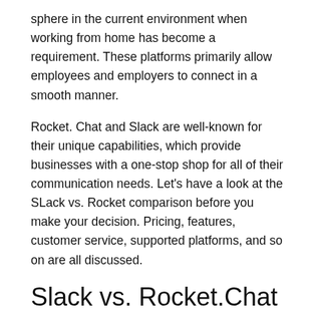sphere in the current environment when working from home has become a requirement. These platforms primarily allow employees and employers to connect in a smooth manner.
Rocket. Chat and Slack are well-known for their unique capabilities, which provide businesses with a one-stop shop for all of their communication needs. Let’s have a look at the SLack vs. Rocket comparison before you make your decision. Pricing, features, customer service, supported platforms, and so on are all discussed.
Slack vs. Rocket.Chat in a nutshell
| Feature | Rocket.Chat | Slack |
| --- | --- | --- |
| Type | Communication | Communication |